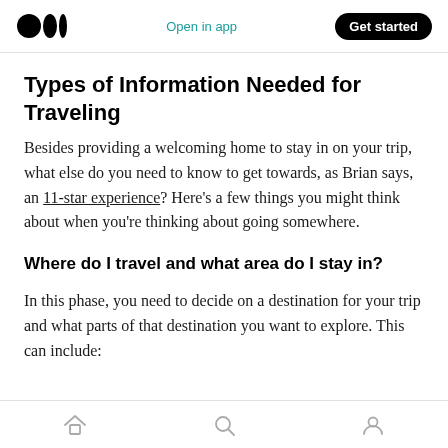Open in app  Get started
Types of Information Needed for Traveling
Besides providing a welcoming home to stay in on your trip, what else do you need to know to get towards, as Brian says, an 11-star experience? Here’s a few things you might think about when you’re thinking about going somewhere.
Where do I travel and what area do I stay in?
In this phase, you need to decide on a destination for your trip and what parts of that destination you want to explore. This can include:
Home  Search  Profile